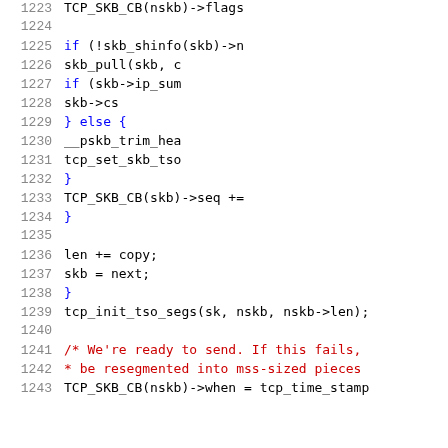[Figure (screenshot): Source code listing showing lines 1223-1243 of a C kernel networking function dealing with TCP SKB operations, including skb_shinfo checks, pskb_trim, tcp_set_skb_tso, TCP_SKB_CB sequence updates, and a comment about resegmenting into mss-sized pieces.]